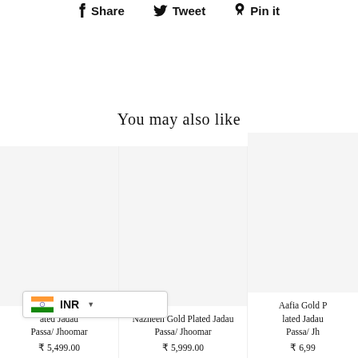Share   Tweet   Pin it
You may also like
ated Jadau Passa/ Jhoomar
₹ 5,499.00
Nazneen Gold Plated Jadau Passa/ Jhoomar
₹ 5,999.00
Aafia Gold Plated Jadau Passa/ Jh...
₹ 6,99...
INR